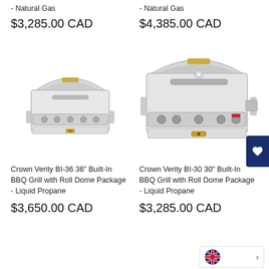- Natural Gas
- Natural Gas
$3,285.00 CAD
$4,385.00 CAD
[Figure (photo): Crown Verity BI-36 36 inch Built-In BBQ Grill with Roll Dome Package - Liquid Propane, stainless steel built-in grill]
[Figure (photo): Crown Verity BI-30 30 inch Built-In BBQ Grill with Roll Dome Package - Liquid Propane, stainless steel built-in grill, larger model]
Crown Verity BI-36 36" Built-In BBQ Grill with Roll Dome Package - Liquid Propane
Crown Verity BI-30 30" Built-In BBQ Grill with Roll Dome Package - Liquid Propane
$3,650.00 CAD
$3,285.00 CAD